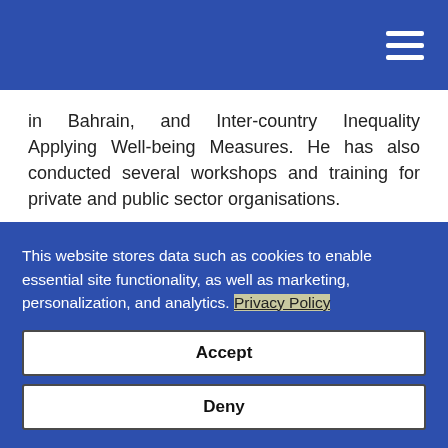in Bahrain, and Inter-country Inequality Applying Well-being Measures. He has also conducted several workshops and training for private and public sector organisations.
Academic Credentials
Ph.D. Economics, University of Leicester, UK
This website stores data such as cookies to enable essential site functionality, as well as marketing, personalization, and analytics. Privacy Policy
Accept
Deny